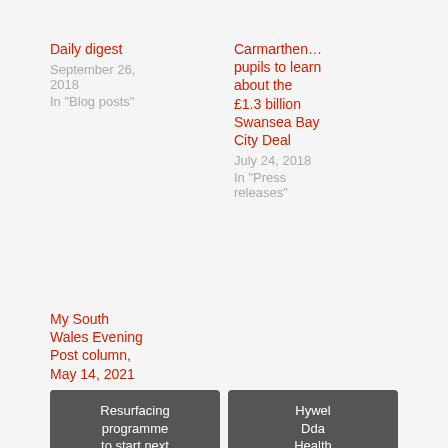Daily digest
September 26, 2018
In "Blog posts"
Carmarthen... pupils to learn about the £1.3 billion Swansea Bay City Deal
July 24, 2018
In "Press releases"
My South Wales Evening Post column, May 14, 2021
May 17, 2021
In "Blog posts"
Resurfacing programme to start next week at Llanelli's Gelli Onn
Hywel Dda Health Board reassures Taif